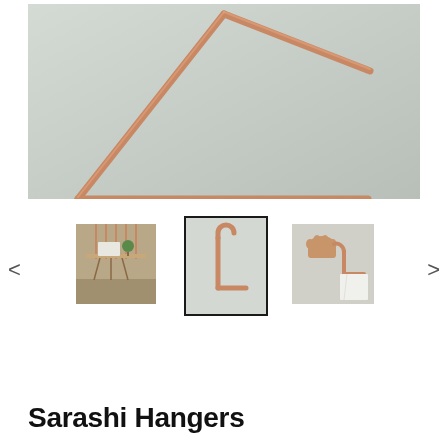[Figure (photo): Close-up photo of a minimalist copper/rose-gold wire hanger against a light gray wall, showing the triangular top and horizontal bar of the hanger]
[Figure (photo): Thumbnail 1: Multiple copper hangers suspended from ceiling over a table with books and a small plant]
[Figure (photo): Thumbnail 2 (active/selected): Single copper hanger showing its profile with hook and horizontal bar against white background]
[Figure (photo): Thumbnail 3: A hand holding a copper hanger with a white cloth/towel draped over it]
Sarashi Hangers